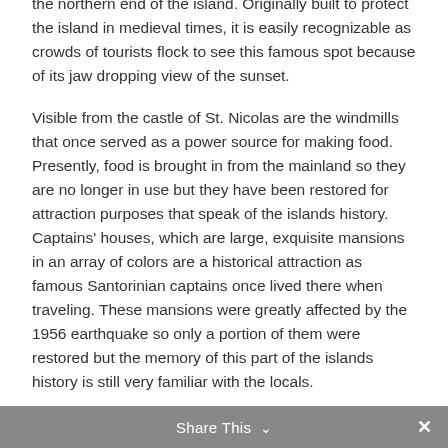the northern end of the island. Originally built to protect the island in medieval times, it is easily recognizable as crowds of tourists flock to see this famous spot because of its jaw dropping view of the sunset.
Visible from the castle of St. Nicolas are the windmills that once served as a power source for making food. Presently, food is brought in from the mainland so they are no longer in use but they have been restored for attraction purposes that speak of the islands history. Captains' houses, which are large, exquisite mansions in an array of colors are a historical attraction as famous Santorinian captains once lived there when traveling. These mansions were greatly affected by the 1956 earthquake so only a portion of them were restored but the memory of this part of the islands history is still very familiar with the locals.
Share This ∨ ✕